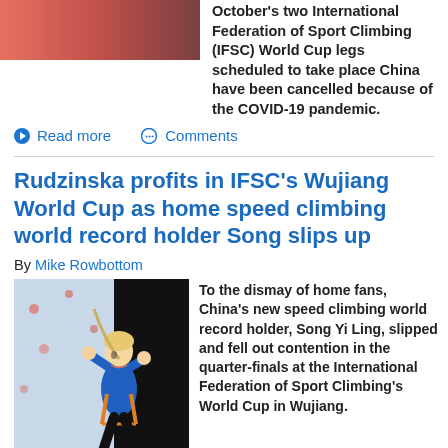[Figure (photo): Top partial image of a climbing-related photo, cropped at top of page]
October's two International Federation of Sport Climbing (IFSC) World Cup legs scheduled to take place China have been cancelled because of the COVID-19 pandemic.
Read more
Comments
Rudzinska profits in IFSC's Wujiang World Cup as home speed climbing world record holder Song slips up
By Mike Rowbottom
[Figure (photo): Photo of a female speed climber in blue top, harness, celebrating or exerting effort on a climbing wall against a dark background]
To the dismay of home fans, China's new speed climbing world record holder, Song Yi Ling, slipped and fell out contention in the quarter-finals at the International Federation of Sport Climbing's World Cup in Wujiang.